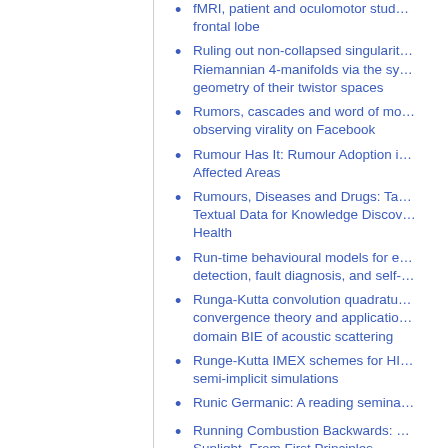fMRI, patient and oculomotor studies of the frontal lobe
Ruling out non-collapsed singularities in Riemannian 4-manifolds via the symplectic geometry of their twistor spaces
Rumors, cascades and word of mouth: observing virality on Facebook
Rumour Has It: Rumour Adoption in Disaster Affected Areas
Rumours, Diseases and Drugs: Tackling Textual Data for Knowledge Discovery in Health
Run-time behavioural models for error detection, fault diagnosis, and self-healing
Runga-Kutta convolution quadrature: convergence theory and application to time-domain BIE of acoustic scattering
Runge-Kutta IMEX schemes for HPC semi-implicit simulations
Runic Germanic: A reading seminar
Running Combustion Backwards: Making Sunlight, From First Principles
Running dynamic algorithms on static hardware
Running NFV Service Chains at the...